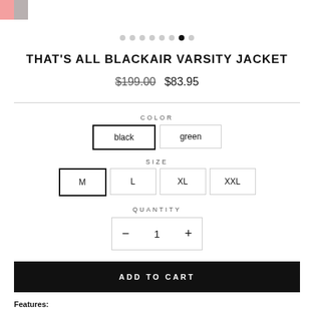[Figure (screenshot): Top-left corner showing a partial product image with pink and grey colors, and carousel navigation dots below]
THAT'S ALL BLACKAIR VARSITY JACKET
$199.00  $83.95
COLOR
black  green
SIZE
M  L  XL  XXL
QUANTITY
- 1 +
ADD TO CART
Features: